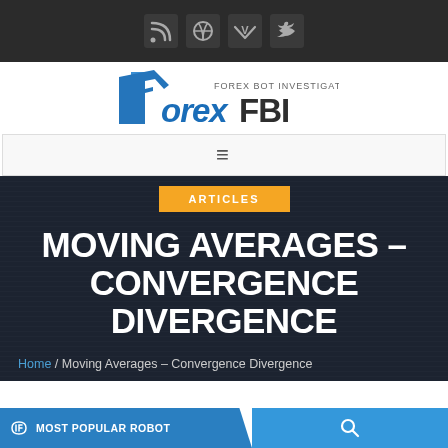[Figure (logo): Social media icons bar with RSS, Dribbble, Vimeo, and Twitter icons on dark background]
[Figure (logo): Forex FBI - Forex Bot Investigator logo in blue and grey on white background]
≡
ARTICLES
MOVING AVERAGES – CONVERGENCE DIVERGENCE
Home / Moving Averages – Convergence Divergence
MOST POPULAR ROBOT